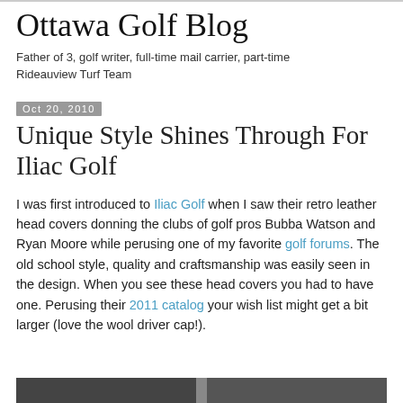Ottawa Golf Blog
Father of 3, golf writer, full-time mail carrier, part-time Rideauview Turf Team
Oct 20, 2010
Unique Style Shines Through For Iliac Golf
I was first introduced to Iliac Golf when I saw their retro leather head covers donning the clubs of golf pros Bubba Watson and Ryan Moore while perusing one of my favorite golf forums. The old school style, quality and craftsmanship was easily seen in the design. When you see these head covers you had to have one. Perusing their 2011 catalog your wish list might get a bit larger (love the wool driver cap!).
[Figure (photo): Partial bottom image, appears to be a cropped photo]